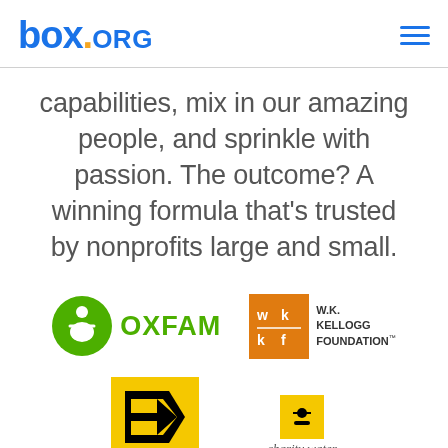[Figure (logo): box.ORG logo in blue with orange dot, and hamburger menu icon in top right]
capabilities, mix in our amazing people, and sprinkle with passion. The outcome? A winning formula that's trusted by nonprofits large and small.
[Figure (logo): Oxfam logo: green circle with person icon and OXFAM text in green]
[Figure (logo): W.K. Kellogg Foundation logo: orange square with wk/kf lettering and text W.K. KELLOGG FOUNDATION]
[Figure (logo): InterAction logo: yellow/gold square with black arrow/flag graphic]
[Figure (logo): Charity Navigator logo: yellow icon with charity water text below]